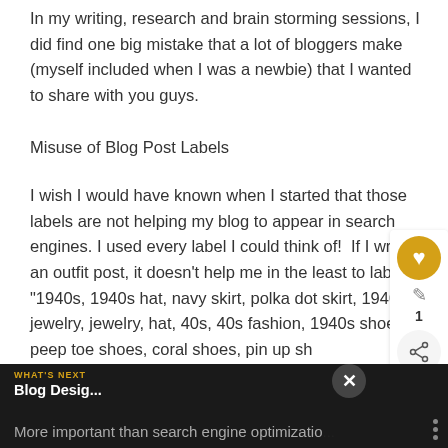In my writing, research and brain storming sessions, I did find one big mistake that a lot of bloggers make (myself included when I was a newbie) that I wanted to share with you guys.
Misuse of Blog Post Labels
I wish I would have known when I started that those labels are not helping my blog to appear in search engines. I used every label I could think of!  If I write an outfit post, it doesn't help me in the least to label it "1940s, 1940s hat, navy skirt, polka dot skirt, 1940s jewelry, jewelry, hat, 40s, 40s fashion, 1940s shoes, peep toe shoes, coral shoes, pin up sh
More important than search engine optimizatio...